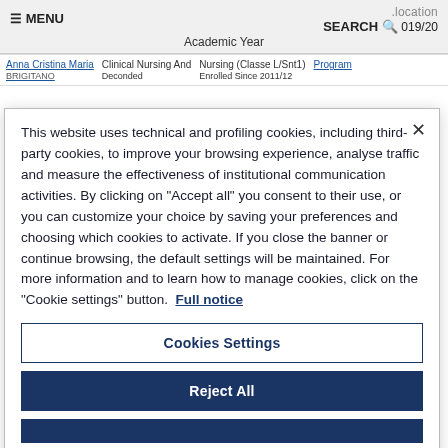≡ MENU   SEARCH 🔍   .location   019/20   Academic Year
Anna Cristina Maria   Clinical Nursing And   Nursing (Classe L/Snt1)   Program
This website uses technical and profiling cookies, including third-party cookies, to improve your browsing experience, analyse traffic and measure the effectiveness of institutional communication activities. By clicking on "Accept all" you consent to their use, or you can customize your choice by saving your preferences and choosing which cookies to activate. If you close the banner or continue browsing, the default settings will be maintained. For more information and to learn how to manage cookies, click on the "Cookie settings" button. Full notice
Cookies Settings
Reject All